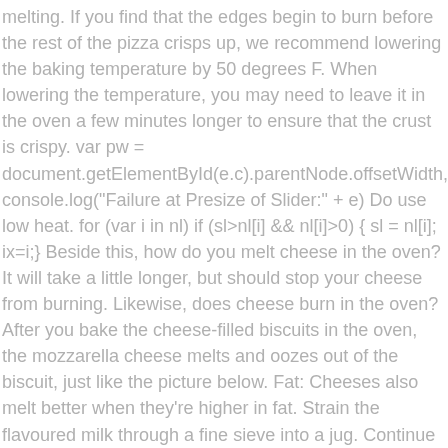melting. If you find that the edges begin to burn before the rest of the pizza crisps up, we recommend lowering the baking temperature by 50 degrees F. When lowering the temperature, you may need to leave it in the oven a few minutes longer to ensure that the crust is crispy. var pw = document.getElementById(e.c).parentNode.offsetWidth, console.log("Failure at Presize of Slider:" + e) Do use low heat. for (var i in nl) if (sl>nl[i] && nl[i]>0) { sl = nl[i]; ix=i;} Beside this, how do you melt cheese in the oven? It will take a little longer, but should stop your cheese from burning. Likewise, does cheese burn in the oven? After you bake the cheese-filled biscuits in the oven, the mozzarella cheese melts and oozes out of the biscuit, just like the picture below. Fat: Cheeses also melt better when they're higher in fat. Strain the flavoured milk through a fine sieve into a jug. Continue with 15 to 30 second intervals until the cheese is melted. How do you splice wires for a security camera? Mozzarella is a stretched-curd cheese.It's not designed to melt, especially in low-moisture, part-skim form, which is what string